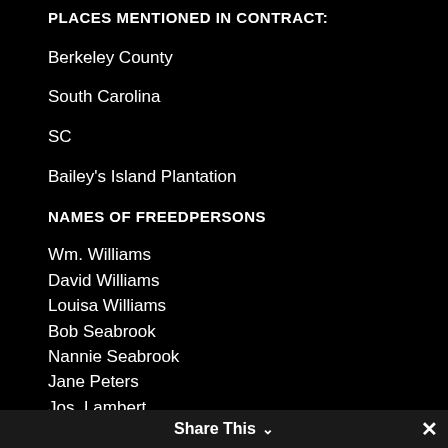PLACES MENTIONED IN CONTRACT:
Berkeley County
South Carolina
SC
Bailey's Island Plantation
NAMES OF FREEDPERSONS
Wm. Williams
David Williams
Louisa Williams
Bob Seabrook
Nannie Seabrook
Jane Peters
Jos. Lambert
Daniel Turner
John W. Hall
Simon Williams
Share This ∨  ✕